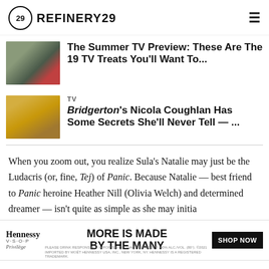REFINERY29
[Figure (photo): Thumbnail image of two people outdoors near yellow police tape, TV show scene]
The Summer TV Preview: These Are The 19 TV Treats You'll Want To...
[Figure (photo): Thumbnail image of a woman in a golden floral dress seated on the floor]
TV
Bridgerton's Nicola Coughlan Has Some Secrets She'll Never Tell — ...
When you zoom out, you realize Sula's Natalie may just be the Ludacris (or, fine, Tej) of Panic. Because Natalie — best friend to Panic heroine Heather Nill (Olivia Welch) and determined dreamer — isn't quite as simple as she may initially... Natalie is... Natalie is the unseen... a twist the...
[Figure (screenshot): Hennessy VSOP advertisement banner: MORE IS MADE BY THE MANY, with SHOP NOW button]